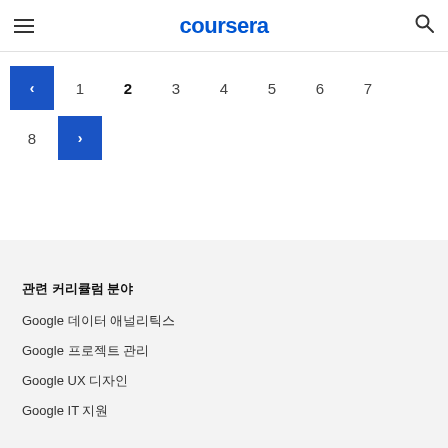coursera
Pagination: < 1 2 3 4 5 6 7 8 >
관련 커리큘럼 분야
Google 데이터 애널리틱스
Google 프로젝트 관리
Google UX 디자인
Google IT 지원